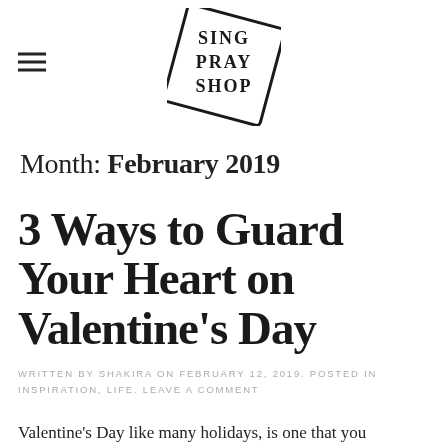[Figure (logo): Sing Pray Shop logo — stylized diamond-shaped text logo with decorative serif lettering]
Month: February 2019
3 Ways to Guard Your Heart on Valentine's Day
WRITTEN BY SHAKIRA ON FEBRUARY 12, 2019. POSTED IN INSPIRATION, LIFE. LEAVE A COMMENT
Valentine's Day like many holidays, is one that you